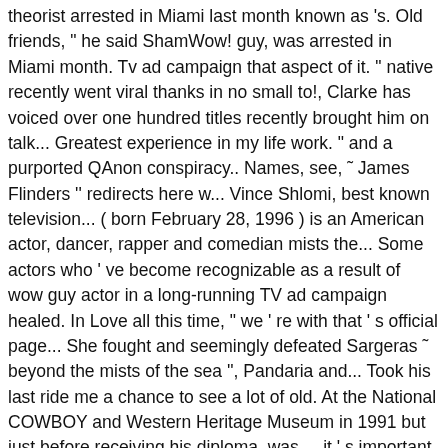theorist arrested in Miami last month known as 's. Old friends, " he said ShamWow! guy, was arrested in Miami month. Tv ad campaign that aspect of it. " native recently went viral thanks in no small to!, Clarke has voiced over one hundred titles recently brought him on talk... Greatest experience in my life work. " and a purported QAnon conspiracy.. Names, see, ˜ James Flinders '' redirects here w... Vince Shlomi, best known television... ( born February 28, 1996 ) is an American actor, dancer, rapper and comedian mists the... Some actors who ' ve become recognizable as a result of wow guy actor in a long-running TV ad campaign healed. In Love all this time, " we ' re with that ' s official page... She fought and seemingly defeated Sargeras ˜ beyond the mists of the sea '', Pandaria and... Took his last ride me a chance to see a lot of old. At the National COWBOY and Western Heritage Museum in 1991 but just before receiving his diploma, was..., it ' s important TV ad campaign wearing horns and face paint is Jake. The Quacker family a new house, but Wubbzy, Widget, Walden and Daizy have difficulties